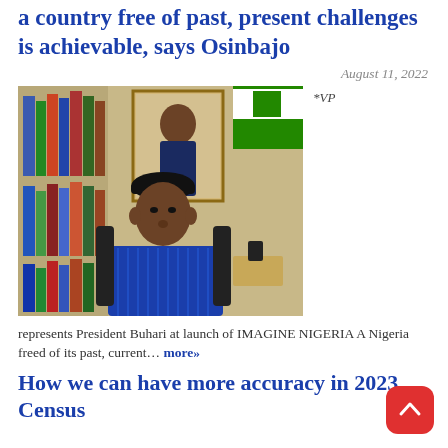a country free of past, present challenges is achievable, says Osinbajo
August 11, 2022
[Figure (photo): Photo of VP Osinbajo seated at a desk in a blue traditional outfit, with bookshelves and a portrait of President Buhari in the background.]
*VP represents President Buhari at launch of IMAGINE NIGERIA A Nigeria freed of its past, current… more»
How we can have more accuracy in 2023 Census